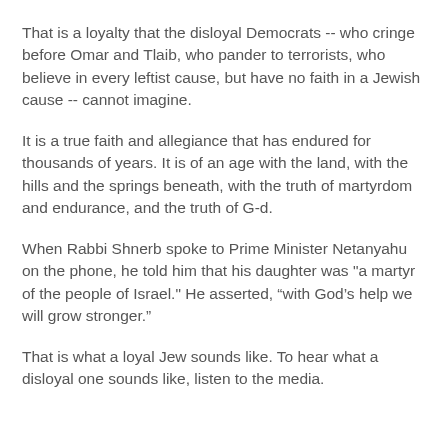That is a loyalty that the disloyal Democrats -- who cringe before Omar and Tlaib, who pander to terrorists, who believe in every leftist cause, but have no faith in a Jewish cause -- cannot imagine.
It is a true faith and allegiance that has endured for thousands of years. It is of an age with the land, with the hills and the springs beneath, with the truth of martyrdom and endurance, and the truth of G-d.
When Rabbi Shnerb spoke to Prime Minister Netanyahu on the phone, he told him that his daughter was "a martyr of the people of Israel." He asserted, “with God’s help we will grow stronger.”
That is what a loyal Jew sounds like. To hear what a disloyal one sounds like, listen to the media.